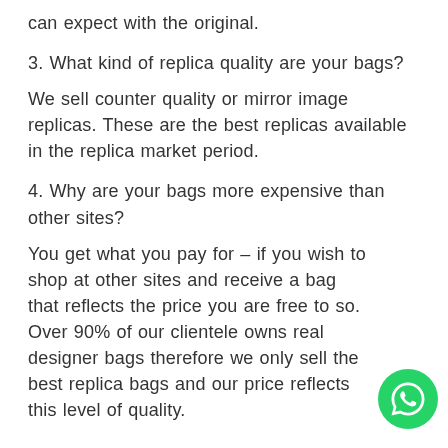can expect with the original.
3. What kind of replica quality are your bags?
We sell counter quality or mirror image replicas. These are the best replicas available in the replica market period.
4. Why are your bags more expensive than other sites?
You get what you pay for – if you wish to shop at other sites and receive a bag that reflects the price you are free to do so. Over 90% of our clientele owns real designer bags therefore we only sell the best replica bags and our price reflects this level of quality.
[Figure (logo): WhatsApp contact button — green circle with white WhatsApp phone/speech-bubble icon]